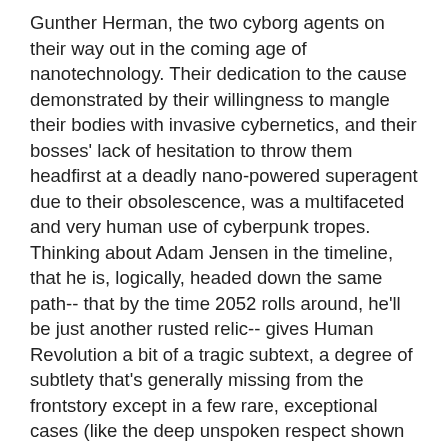Gunther Herman, the two cyborg agents on their way out in the coming age of nanotechnology. Their dedication to the cause demonstrated by their willingness to mangle their bodies with invasive cybernetics, and their bosses' lack of hesitation to throw them headfirst at a deadly nano-powered superagent due to their obsolescence, was a multifaceted and very human use of cyberpunk tropes. Thinking about Adam Jensen in the timeline, that he is, logically, headed down the same path-- that by the time 2052 rolls around, he'll be just another rusted relic-- gives Human Revolution a bit of a tragic subtext, a degree of subtlety that's generally missing from the frontstory except in a few rare, exceptional cases (like the deep unspoken respect shown between Jensen and his pilot, Malik, or the fairly complex, fatherly relationship between Jensen and his boss, Sarif.)
The world that Eidos Montreal brought together for the game is a real cyberpunk wonderland; Hengsha city in particular completely engulfs the player in the sights and sounds of an overstuffed, stylized but semi-plausible near-future. It's not groundbreaking or even that wildly creative, but it is satisfying. Sometimes just taking the standard tropes and